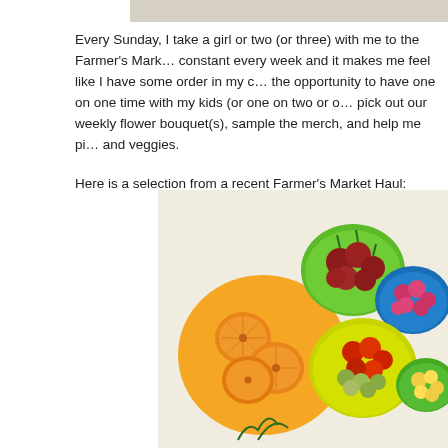[Figure (photo): Top strip of a partially visible image at the top of the page]
Every Sunday, I take a girl or two (or three) with me to the Farmer's Market. It is a constant every week and it makes me feel like I have some order in my c... the opportunity to have one on one time with my kids (or one on two or o... pick out our weekly flower bouquet(s), sample the merch, and help me pi... and veggies.
Here is a selection from a recent Farmer's Market Haul:
[Figure (photo): Colorful bowls and plates with various fruits and vegetables from a Farmer's Market: sliced persimmons on an orange plate, radishes in a green bowl, raspberries in a blue bowl, tomatoes and gooseberries in a yellow bowl, and yellow raspberries in a green bowl.]